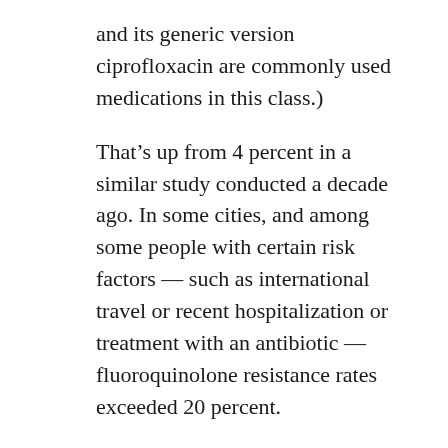and its generic version ciprofloxacin are commonly used medications in this class.)
That’s up from 4 percent in a similar study conducted a decade ago. In some cities, and among some people with certain risk factors — such as international travel or recent hospitalization or treatment with an antibiotic — fluoroquinolone resistance rates exceeded 20 percent.
Strain of E. coli: ESBL
The new study — published in the September issue of Emerging Infectious Diseases — also documents the emergence of infections caused